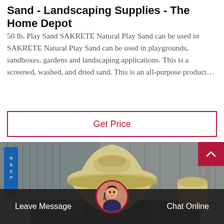Sand - Landscaping Supplies - The Home Depot
50 lb. Play Sand SAKRETE Natural Play Sand can be used in SAKRETE Natural Play Sand can be used in playgrounds, sandboxes, gardens and landscaping applications. This is a screened, washed, and dried sand. This is an all-purpose product…
Get Price
[Figure (photo): Industrial sand-making or cone crusher machine in beige/cream color, sitting on a black base inside a large warehouse/factory building with corrugated metal walls. A blue sign with Chinese characters is visible on the left wall.]
Leave Message
[Figure (photo): Circular avatar of a woman wearing a headset, used as a chat support icon.]
Chat Online